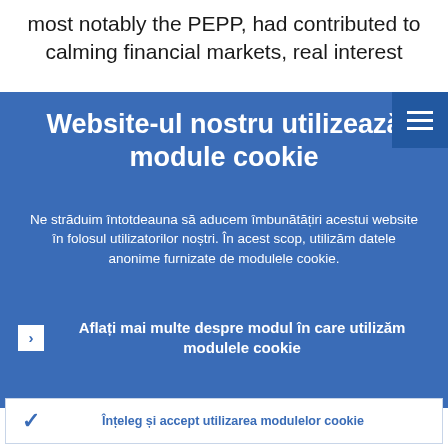most notably the PEPP, had contributed to calming financial markets, real interest
Website-ul nostru utilizează module cookie
Ne străduim întotdeauna să aducem îmbunătățiri acestui website în folosul utilizatorilor noștri. În acest scop, utilizăm datele anonime furnizate de modulele cookie.
Aflați mai multe despre modul în care utilizăm modulele cookie
Înțeleg și accept utilizarea modulelor cookie
Refuz utilizarea modulelor cookie